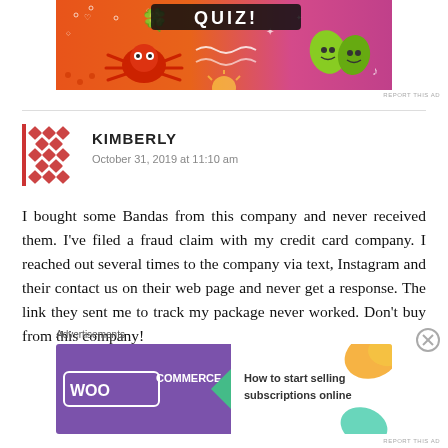[Figure (illustration): Colorful advertisement banner with orange/pink gradient background featuring cartoon characters including a red spider/crab and green leaf creatures with doodle decorations and stylized text]
REPORT THIS AD
KIMBERLY
October 31, 2019 at 11:10 am
I bought some Bandas from this company and never received them. I've filed a fraud claim with my credit card company. I reached out several times to the company via text, Instagram and their contact us on their web page and never get a response. The link they sent me to track my package never worked. Don't buy from this company!
Advertisements
[Figure (illustration): WooCommerce advertisement banner with purple background, WooCommerce logo with green arrow, and text 'How to start selling subscriptions online' with orange and teal decorative blobs]